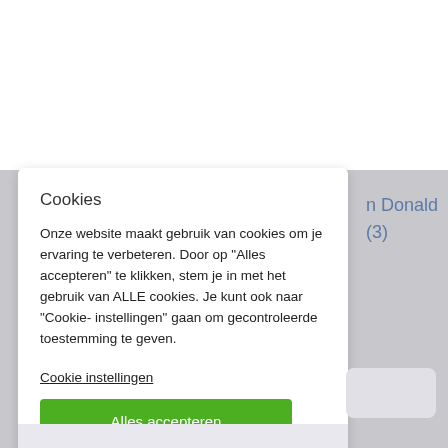[Figure (screenshot): Cookie consent modal overlay on a website. The modal has a white background with a title 'Cookies', body text in Dutch about cookie usage, a 'Cookie instellingen' link, and a green 'Alles accepteren' button. Behind the modal, partially visible text reads 'n Donald' and '(3)' in blue link style.]
Cookies
Onze website maakt gebruik van cookies om je ervaring te verbeteren. Door op "Alles accepteren" te klikken, stem je in met het gebruik van ALLE cookies. Je kunt ook naar "Cookie-instellingen" gaan om gecontroleerde toestemming te geven.
Cookie instellingen
Alles accepteren